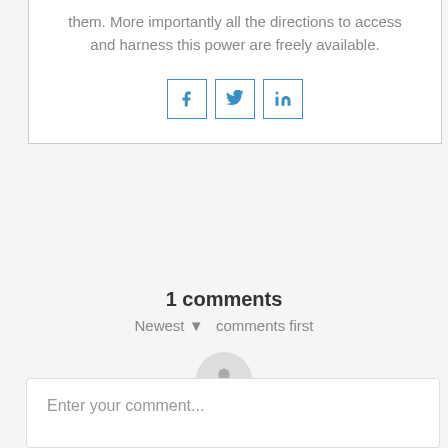them. More importantly all the directions to access and harness this power are freely available.
[Figure (other): Social share buttons: Facebook (f), Twitter (bird icon), LinkedIn (in)]
1 comments
Newest ▼  comments first
[Figure (other): User avatar placeholder icon (person silhouette in a grey circle)]
Enter your comment...